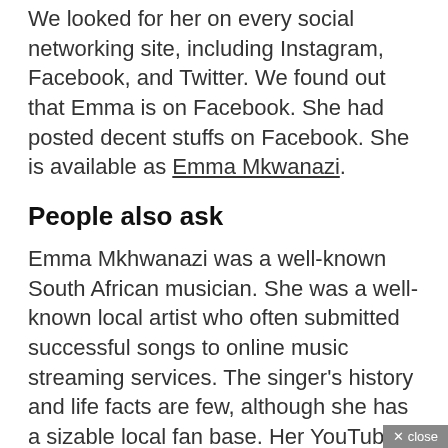We looked for her on every social networking site, including Instagram, Facebook, and Twitter. We found out that Emma is on Facebook. She had posted decent stuffs on Facebook. She is available as Emma Mkwanazi.
People also ask
Emma Mkhwanazi was a well-known South African musician. She was a well-known local artist who often submitted successful songs to online music streaming services. The singer's history and life facts are few, although she has a sizable local fan base. Her YouTube videos and songs demonstrate her true abilities and talent. Her fans referred to her as the Gospel Queen.